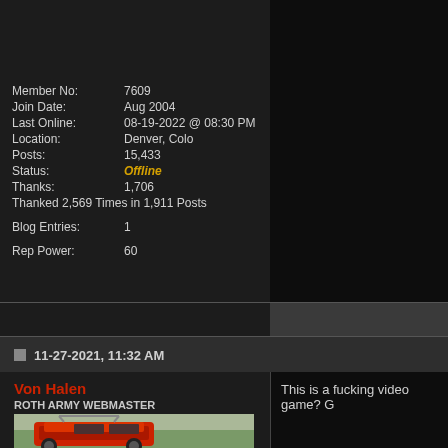[Figure (photo): Cropped avatar photo of a person in a plaid shirt]
Member No: 7609
Join Date: Aug 2004
Last Online: 08-19-2022 @ 08:30 PM
Location: Denver, Colo
Posts: 15,433
Status: Offline
Thanks: 1,706
Thanked 2,569 Times in 1,911 Posts
Blog Entries: 1
Rep Power: 60
11-27-2021, 11:32 AM
Von Halen
ROTH ARMY WEBMASTER
[Figure (photo): Red dune buggy / off-road vehicle on a field]
This is a fucking video game? G